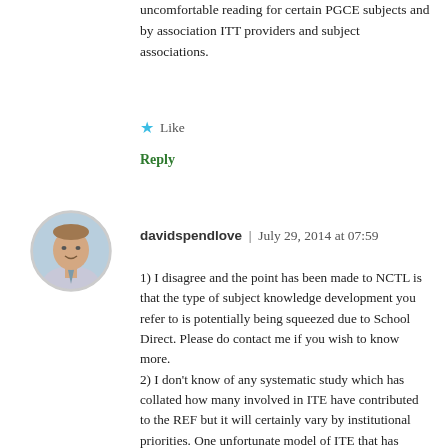uncomfortable reading for certain PGCE subjects and by association ITT providers and subject associations.
Like
Reply
[Figure (photo): Circular avatar photo of a man (davidspendlove) wearing a suit and tie, smiling.]
davidspendlove | July 29, 2014 at 07:59
1) I disagree and the point has been made to NCTL is that the type of subject knowledge development you refer to is potentially being squeezed due to School Direct. Please do contact me if you wish to know more.
2) I don't know of any systematic study which has collated how many involved in ITE have contributed to the REF but it will certainly vary by institutional priorities. One unfortunate model of ITE that has emerged in some Universities is that there are those that are involved with ITE and those involved with